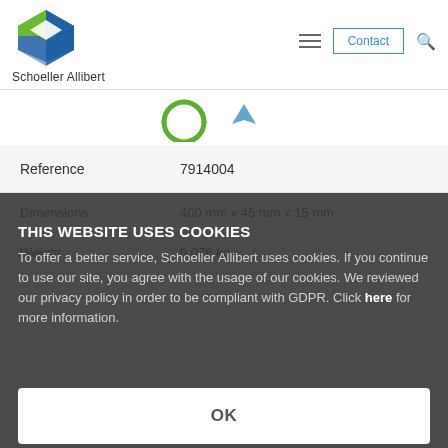[Figure (logo): Schoeller Allibert logo - green and blue diamond/cube shape with text 'Schoeller Allibert' below]
[Figure (screenshot): Navigation bar with hamburger menu, Contact button, and search icon]
[Figure (photo): Partial product image strip showing recycling symbol and other icons]
| Reference | 7914004 |
| Dimensions | 400 mm x 45 mm x 15 mm |
THIS WEBSITE USES COOKIES
To offer a better service, Schoeller Allibert uses cookies. If you continue to use our site, you agree with the usage of our cookies. We reviewed our privacy policy in order to be compliant with GDPR. Click here for more information.
OK